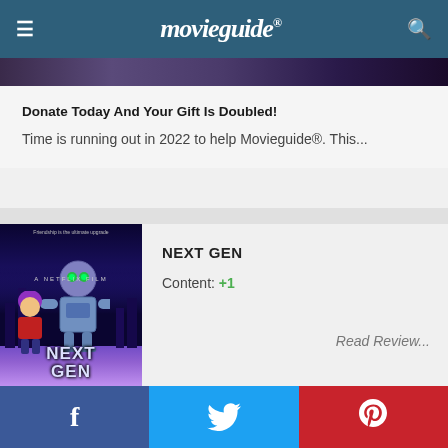movieguide®
[Figure (photo): Dark cinematic image strip below header]
Donate Today And Your Gift Is Doubled!
Time is running out in 2022 to help Movieguide®. This...
[Figure (photo): NEXT GEN animated movie poster featuring a robot and child character with purple/blue cityscape background]
NEXT GEN
Content: +1
Read Review...
f  (Twitter bird icon)  p